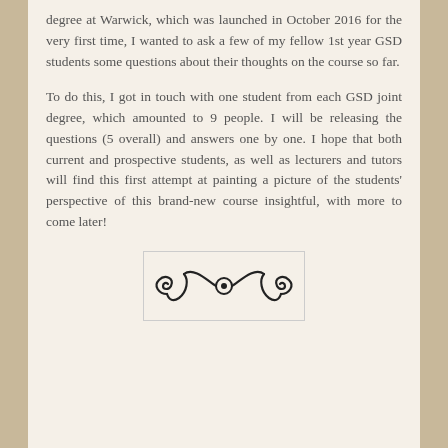degree at Warwick, which was launched in October 2016 for the very first time, I wanted to ask a few of my fellow 1st year GSD students some questions about their thoughts on the course so far.
To do this, I got in touch with one student from each GSD joint degree, which amounted to 9 people. I will be releasing the questions (5 overall) and answers one by one. I hope that both current and prospective students, as well as lecturers and tutors will find this first attempt at painting a picture of the students' perspective of this brand-new course insightful, with more to come later!
[Figure (illustration): Decorative ornamental swirl/scroll design in black on light background, enclosed in a rectangular border.]